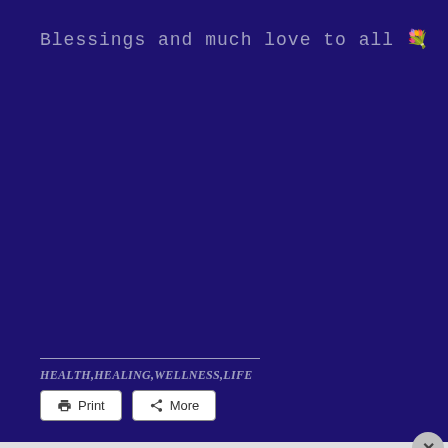Blessings and much love to all 💐
HEALTH,HEALING,WELLNESS,LIFE
[Figure (screenshot): Webpage screenshot showing a blog post ending with 'Blessings and much love to all' on a dark blue/purple background, with Print and More buttons, an Advertisements label, a DuckDuckGo ad banner, and a social share bar at the bottom with Facebook, Twitter, Google+, Pinterest, Email, and Crown icons.]